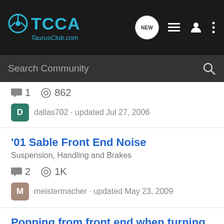TCCA TaurusClub.com — navigation header with search bar
1 replies · 862 views
dallas702 · updated Jul 27, 2006
'01 Sable Front End Noise
Suspension, Handling and Brakes
2 replies · 1K views
meistermacher · updated May 23, 2009
Popping from front end when turning left
Maintenance and Repair
11 replies · 10K views
dunbar26 · updated Oct 28, 2014